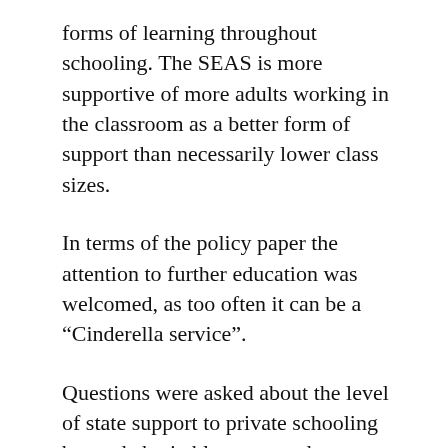forms of learning throughout schooling. The SEAS is more supportive of more adults working in the classroom as a better form of support than necessarily lower class sizes.
In terms of the policy paper the attention to further education was welcomed, as too often it can be a “Cinderella service”.
Questions were asked about the level of state support to private schooling beyond charitable status and tax relief. Mention was made of further support from public sector through Scottish Government civil servants.
The question of early learning, start of